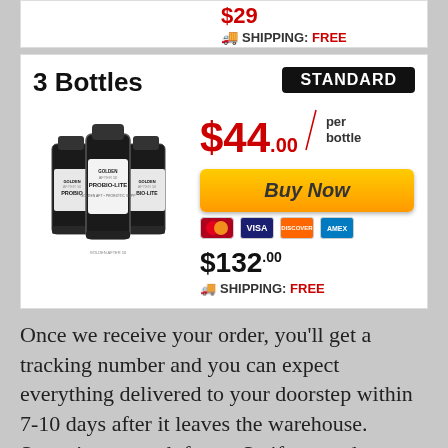[Figure (screenshot): Partial product card showing cropped price ($29?) and FREE shipping row at top]
[Figure (screenshot): 3 Bottles of PROBIO-LITE supplement product card with STANDARD badge, price $44.00 per bottle, Buy Now button with credit card icons, total $132.00, SHIPPING: FREE]
Once we receive your order, you'll get a tracking number and you can expect everything delivered to your doorstep within 7-10 days after it leaves the warehouse. Sometimes, much faster. So if you order now, you can get started